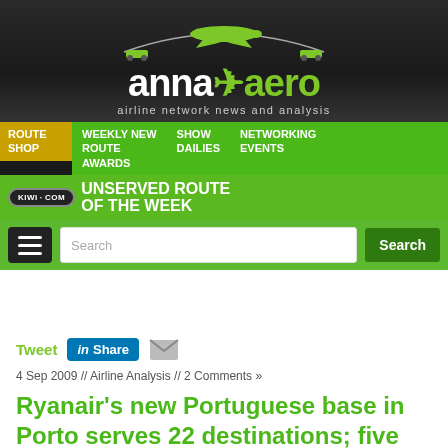[Figure (logo): anna.aero airline network news and analysis logo with airplane graphic on dark background]
ROUTE SHOP | WEEKLY NEW ROUTE AWARDS | SHOW DAILIES | NETWORKING EVENTS
[Figure (logo): KIWI.COM UNSERVED ROUTE OF THE WEEK banner]
Tweet  Share  [email icon]
4 Sep 2009 // Airline Analysis // 2 Comments »
Ryanair's new Portuguese base in Porto serves 22 destinations; five routes served daily